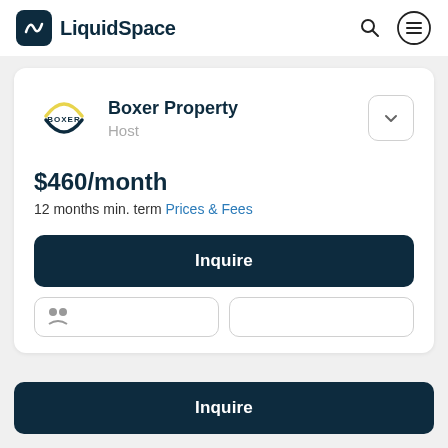LiquidSpace
Boxer Property
Host
$460/month
12 months min. term Prices & Fees
Inquire
Inquire